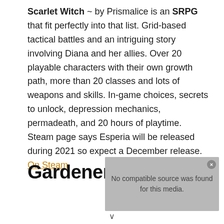Scarlet Witch ~ by Prismalice is an SRPG that fit perfectly into that list. Grid-based tactical battles and an intriguing story involving Diana and her allies. Over 20 playable characters with their own growth path, more than 20 classes and lots of weapons and skills. In-game choices, secrets to unlock, depression mechanics, permadeath, and 20 hours of playtime. Steam page says Esperia will be released during 2021 so expect a December release. On Steam
Gardener's Path
[Figure (other): Media player overlay showing 'No compatible source was found for this media.' error message with a close button]